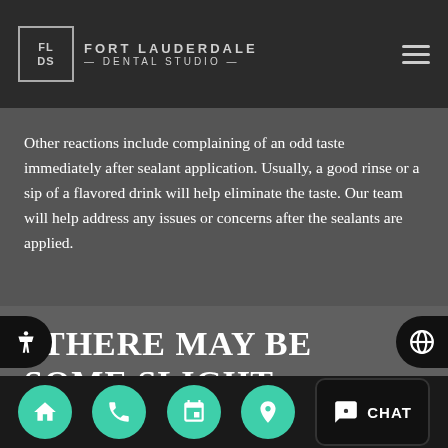FORT LAUDERDALE — DENTAL STUDIO —
Other reactions include complaining of an odd taste immediately after sealant application. Usually, a good rinse or a sip of a flavored drink will help eliminate the taste. Our team will help address any issues or concerns after the sealants are applied.
“There may be some slight discomfort when the sealants are
Home | Phone | Calendar | Location | Chat